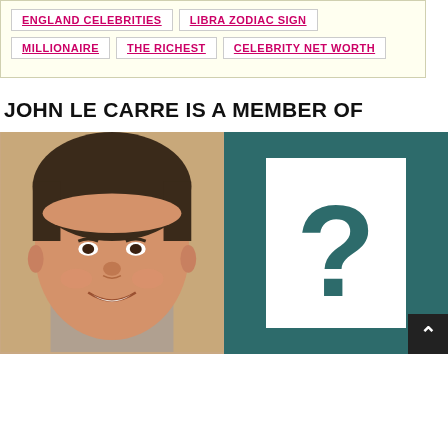ENGLAND CELEBRITIES
LIBRA ZODIAC SIGN
MILLIONAIRE
THE RICHEST
CELEBRITY NET WORTH
JOHN LE CARRE IS A MEMBER OF
[Figure (photo): Photo of a smiling middle-aged man with brown hair against a beige background]
[Figure (illustration): Teal/dark green background with a white rectangle containing a large teal question mark symbol]